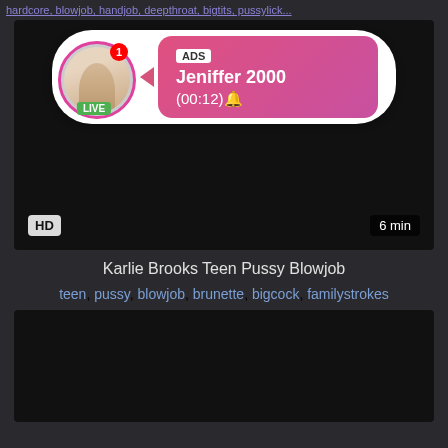hardcore, blowjob, handjob, deepthroat, bigtits, pussylick...
[Figure (screenshot): Video player with ad overlay showing user Jeniffer 2000, LIVE badge, ADS label, timer (00:12), HD badge, 6 min duration]
Karlie Brooks Teen Pussy Blowjob
teen, pussy, blowjob, brunette, bigcock, familystrokes
[Figure (screenshot): Dark video thumbnail at bottom of page]